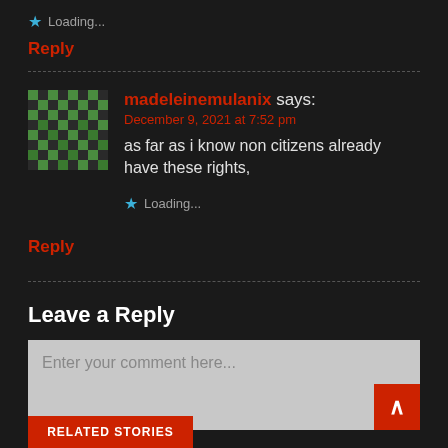Loading...
Reply
madeleinemulanix says:
December 9, 2021 at 7:52 pm
as far as i know non citizens already have these rights,
Loading...
Reply
Leave a Reply
Enter your comment here...
RELATED STORIES